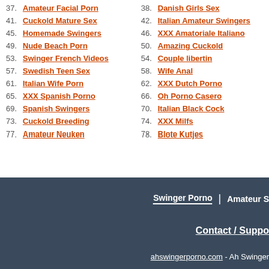37. Amateur Facial Porn
38. Danish Girls Sex
41. Cuckold Mature Sex
42. Italian Amateur Swingers
45. Homemade Swingers
46. XXX Amatoriale Italiano
49. Nude Beach Porn
50. Amazing Cuckold
53. Swinger French Videos
54. Couple libertin
57. Swedish Teen Sex
58. Wife Anal
61. Italian Wife Porn
62. XXX Dutch Porno
65. XXX Spanish Porno
66. Oh Porno Casero
69. Spanish Swingers
70. Italian Black Cock
73. Cuckold Breeding
74. XXX Milfs
77. Amateur Neuken
78. Blote Kutjes
Swinger Porno | Amateur S ... Contact / Support ahswingerporno.com - Ah Swinger